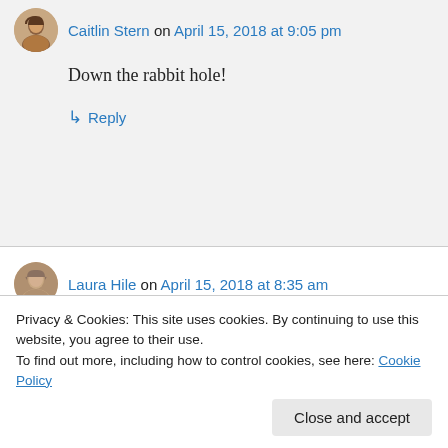Caitlin Stern on April 15, 2018 at 9:05 pm
Down the rabbit hole!
↳ Reply
Laura Hile on April 15, 2018 at 8:35 am
“So think carefully, and choose wisely.”
Such a great line to write, but so frustrating to hear when someone says it to you. No wonder she is irritated… and scared. Well done!
Privacy & Cookies: This site uses cookies. By continuing to use this website, you agree to their use.
To find out more, including how to control cookies, see here: Cookie Policy